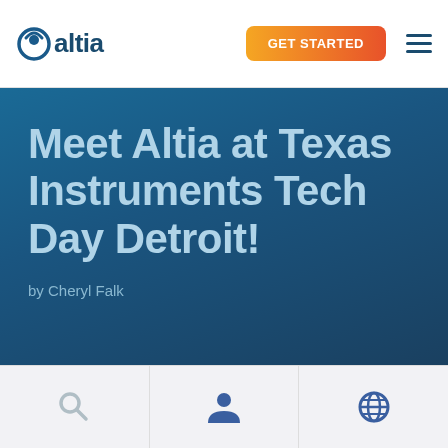Altia logo | GET STARTED button | hamburger menu
Meet Altia at Texas Instruments Tech Day Detroit!
by Cheryl Falk
[Figure (screenshot): Bottom navigation bar with search icon, user/profile icon, and globe/language icon]